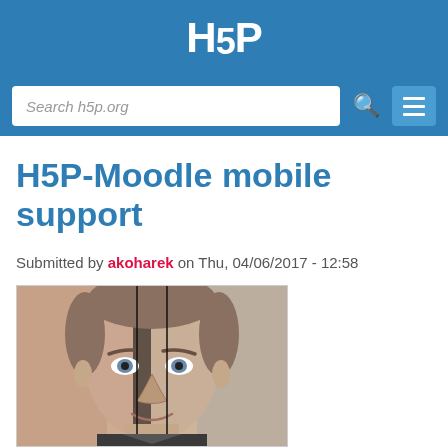H5P
Search h5p.org
H5P-Moodle mobile support
Submitted by akoharek on Thu, 04/06/2017 - 12:58
[Figure (photo): A face comparison image showing the same man's face split into sections with different color tones — left section has a pinkish/warm tint, center strip appears darkened, and right section is in natural grayscale]